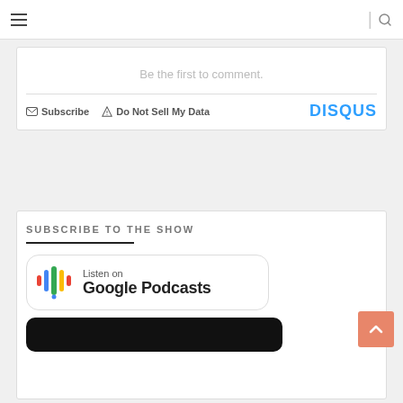Navigation bar with hamburger menu and search icon
Be the first to comment.
Subscribe  Do Not Sell My Data  DISQUS
SUBSCRIBE TO THE SHOW
[Figure (logo): Listen on Google Podcasts badge with colorful microphone icon]
[Figure (logo): Apple Podcasts badge (partial, dark background)]